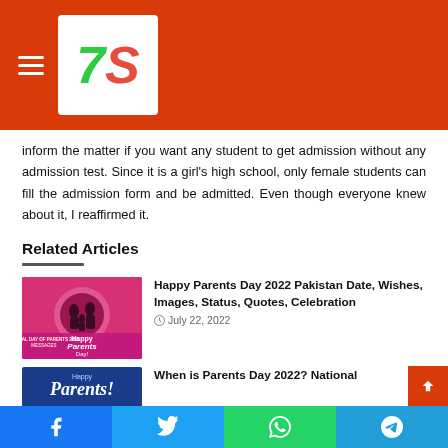[Figure (logo): 7S website logo with hamburger menu on red header bar]
inform the matter if you want any student to get admission without any admission test. Since it is a girl's high school, only female students can fill the admission form and be admitted. Even though everyone knew about it, I reaffirmed it.
Related Articles
[Figure (photo): Happy Parents Day 2022 promotional image with pink/red background and parent-child silhouette]
Happy Parents Day 2022 Pakistan Date, Wishes, Images, Status, Quotes, Celebration
July 22, 2022
[Figure (photo): Happy Parents blue banner image]
When is Parents Day 2022? National
[Figure (other): Social sharing bar with Facebook, Twitter, WhatsApp, Telegram buttons]